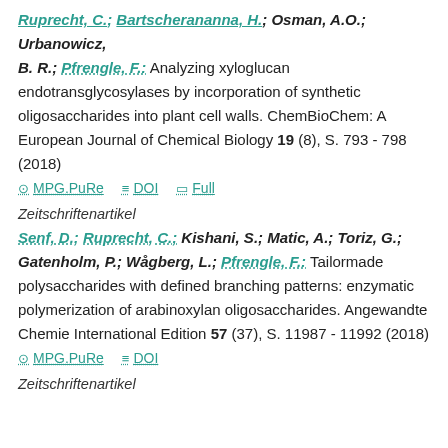Ruprecht, C.; Bartscherananna, H.; Osman, A.O.; Urbanowicz, B. R.; Pfrengle, F.: Analyzing xyloglucan endotransglycosylases by incorporation of synthetic oligosaccharides into plant cell walls. ChemBioChem: A European Journal of Chemical Biology 19 (8), S. 793 - 798 (2018)
MPG.PuRe  DOI  Full
Zeitschriftenartikel
Senf, D.; Ruprecht, C.; Kishani, S.; Matic, A.; Toriz, G.; Gatenholm, P.; Wågberg, L.; Pfrengle, F.: Tailormade polysaccharides with defined branching patterns: enzymatic polymerization of arabinoxylan oligosaccharides. Angewandte Chemie International Edition 57 (37), S. 11987 - 11992 (2018)
MPG.PuRe  DOI
Zeitschriftenartikel